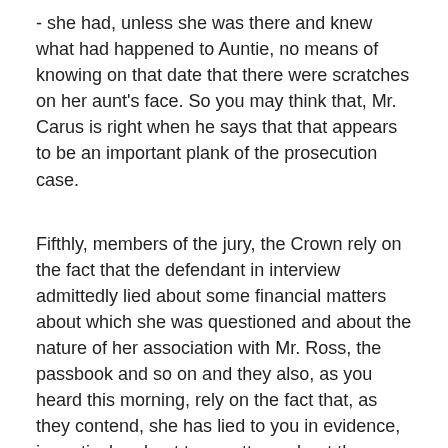- she had, unless she was there and knew what had happened to Auntie, no means of knowing on that date that there were scratches on her aunt's face. So you may think that, Mr. Carus is right when he says that that appears to be an important plank of the prosecution case.
Fifthly, members of the jury, the Crown rely on the fact that the defendant in interview admittedly lied about some financial matters about which she was questioned and about the nature of her association with Mr. Ross, the passbook and so on and they also, as you heard this morning, rely on the fact that, as they contend, she has lied to you in evidence, in particular about two matters: about the conversation which Miss Roberts spoke to and the conversation which Mrs. Oakley spoke to, and also